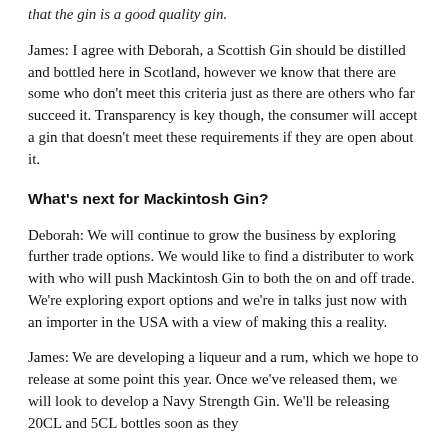that the gin is a good quality gin.
James: I agree with Deborah, a Scottish Gin should be distilled and bottled here in Scotland, however we know that there are some who don't meet this criteria just as there are others who far succeed it. Transparency is key though, the consumer will accept a gin that doesn't meet these requirements if they are open about it.
What's next for Mackintosh Gin?
Deborah: We will continue to grow the business by exploring further trade options. We would like to find a distributer to work with who will push Mackintosh Gin to both the on and off trade. We're exploring export options and we're in talks just now with an importer in the USA with a view of making this a reality.
James: We are developing a liqueur and a rum, which we hope to release at some point this year. Once we've released them, we will look to develop a Navy Strength Gin. We'll be releasing 20CL and 5CL bottles soon as they